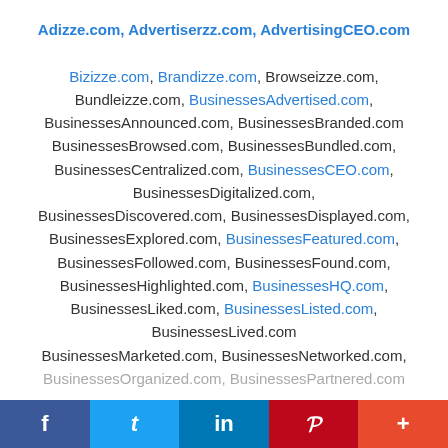Adizze.com, Advertiserzz.com, AdvertisingCEO.com

Bizizze.com, Brandizze.com, Browseizze.com, Bundleizze.com, BusinessesAdvertised.com, BusinessesAnnounced.com, BusinessesBranded.com BusinessesBrowsed.com, BusinessesBundled.com, BusinessesCentralized.com, BusinessesCEO.com, BusinessesDigitalized.com, BusinessesDiscovered.com, BusinessesDisplayed.com, BusinessesExplored.com, BusinessesFeatured.com, BusinessesFollowed.com, BusinessesFound.com, BusinessesHighlighted.com, BusinessesHQ.com, BusinessesLiked.com, BusinessesListed.com, BusinessesLived.com BusinessesMarketed.com, BusinessesNetworked.com, BusinessesOrganized.com, BusinessesPartnered.com
f  t  in  P  +